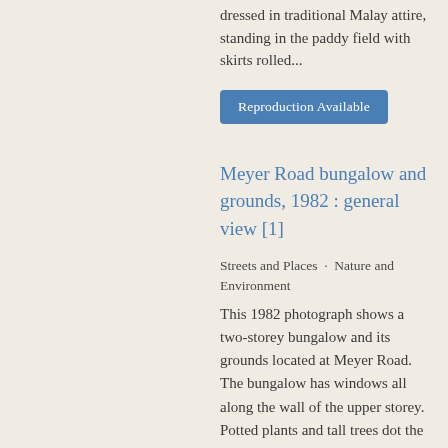dressed in traditional Malay attire, standing in the paddy field with skirts rolled...
Reproduction Available
Meyer Road bungalow and grounds, 1982 : general view [1]
Streets and Places · Nature and Environment
This 1982 photograph shows a two-storey bungalow and its grounds located at Meyer Road. The bungalow has windows all along the wall of the upper storey. Potted plants and tall trees dot the grounds